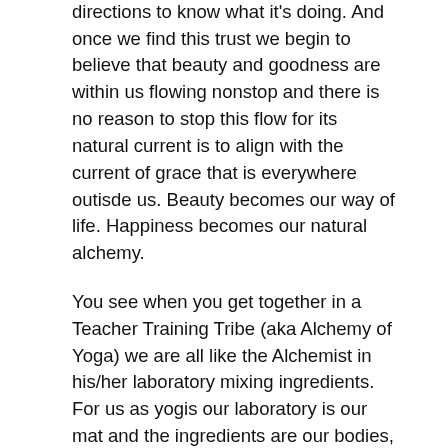intelligence that hugs us from all directions to know what it's doing. And once we find this trust we begin to believe that beauty and goodness are within us flowing nonstop and there is no reason to stop this flow for its natural current is to align with the current of grace that is everywhere outisde us. Beauty becomes our way of life. Happiness becomes our natural alchemy.
You see when you get together in a Teacher Training Tribe (aka Alchemy of Yoga) we are all like the Alchemist in his/her laboratory mixing ingredients. For us as yogis our laboratory is our mat and the ingredients are our bodies, our poses, our breath, our thoughts and the mixing it all together creates a different result every time. A Teacher Training Program changes your life. You wake up to the power you have to go into the laboratory of your life experience and mix the potions you want to create your best life going forward!
I believe that the Alchemy of Yoga Teacher Training Program sparks the fire of transformation in everyone.